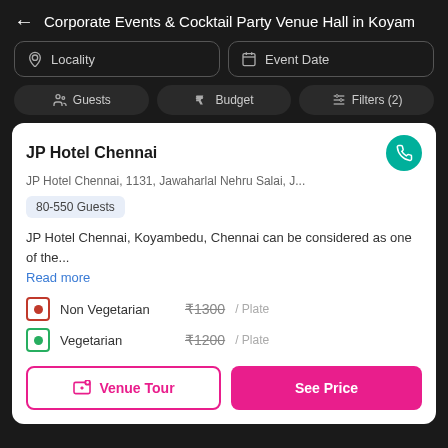Corporate Events & Cocktail Party Venue Hall in Koyam
Locality | Event Date
Guests | Budget | Filters (2)
JP Hotel Chennai
JP Hotel Chennai, 1131, Jawaharlal Nehru Salai, J...
80-550 Guests
JP Hotel Chennai, Koyambedu, Chennai can be considered as one of the...
Read more
Non Vegetarian  ₹1300 / Plate
Vegetarian  ₹1200 / Plate
Venue Tour | See Price